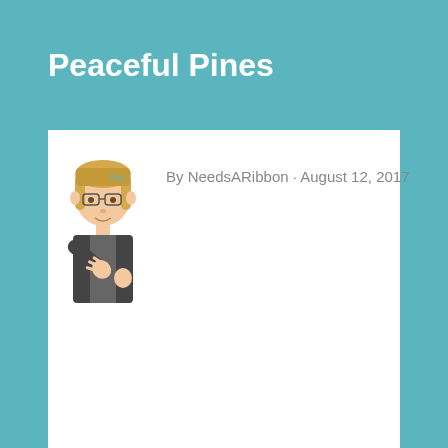Peaceful Pines
[Figure (illustration): Bitmoji avatar of a woman with blonde hair, glasses, wearing a dark vest, waving with one hand raised, with 'hey.' text near her]
By NeedsARibbon · August 12, 2017